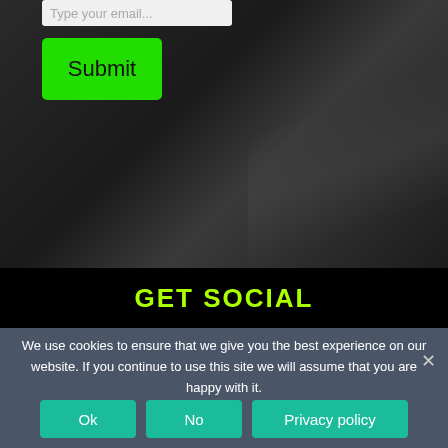[Figure (screenshot): Dark background section of a website with email input field and green Submit button]
Type your email...
Submit
GET SOCIAL
We use cookies to ensure that we give you the best experience on our website. If you continue to use this site we will assume that you are happy with it.
Ok
No
Privacy policy